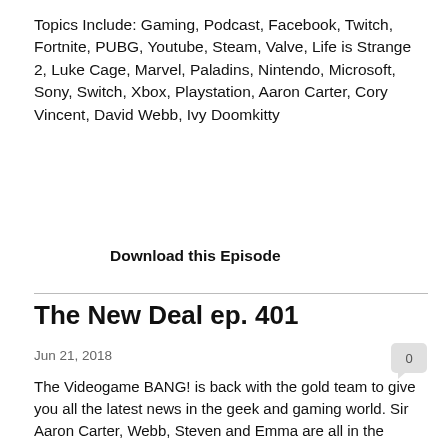Topics Include: Gaming, Podcast, Facebook, Twitch, Fortnite, PUBG, Youtube, Steam, Valve, Life is Strange 2, Luke Cage, Marvel, Paladins, Nintendo, Microsoft, Sony, Switch, Xbox, Playstation, Aaron Carter, Cory Vincent, David Webb, Ivy Doomkitty
Download this Episode
The New Deal ep. 401
Jun 21, 2018
The Videogame BANG! is back with the gold team to give you all the latest news in the geek and gaming world. Sir Aaron Carter, Webb, Steven and Emma are all in the building as we cover the biggest news to come out of Disney. After some gaming news we go over a few games that were cancelled,